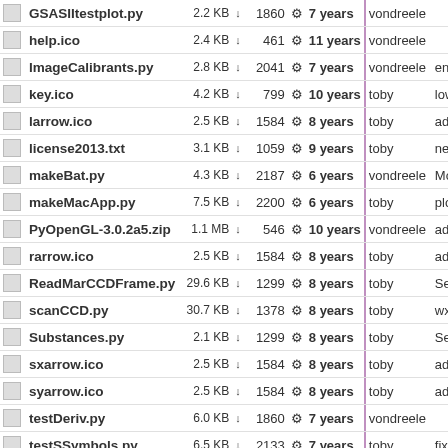|  | Name | Size |  | Rev |  | Age |  | Author | Message |
| --- | --- | --- | --- | --- | --- | --- | --- | --- | --- |
|  | GSASIItestplot.py | 2.2 KB | ↓ | 1860 | ⚙ | 7 years | | | vondreele |  |
|  | help.ico | 2.4 KB | ↓ | 461 | ⚙ | 11 years | | | vondreele |  |
|  | ImageCalibrants.py | 2.8 KB | ↓ | 2041 | ⚙ | 7 years | | | vondreele | ente |
|  | key.ico | 4.2 KB | ↓ | 799 | ⚙ | 10 years | | | toby | low |
|  | larrow.ico | 2.5 KB | ↓ | 1584 | ⚙ | 8 years | | | toby | add |
|  | license2013.txt | 3.1 KB | ↓ | 1059 | ⚙ | 9 years | | | toby | new |
|  | makeBat.py | 4.3 KB | ↓ | 2187 | ⚙ | 6 years | | | vondreele | Mo |
|  | makeMacApp.py | 7.5 KB | ↓ | 2200 | ⚙ | 6 years | | | toby | plo |
|  | PyOpenGL-3.0.2a5.zip | 1.1 MB | ↓ | 546 | ⚙ | 10 years | | | vondreele | add |
|  | rarrow.ico | 2.5 KB | ↓ | 1584 | ⚙ | 8 years | | | toby | add |
|  | ReadMarCCDFrame.py | 29.6 KB | ↓ | 1299 | ⚙ | 8 years | | | toby | Se |
|  | scanCCD.py | 30.7 KB | ↓ | 1378 | ⚙ | 8 years | | | toby | wxR |
|  | Substances.py | 2.1 KB | ↓ | 1299 | ⚙ | 8 years | | | toby | Se |
|  | sxarrow.ico | 2.5 KB | ↓ | 1584 | ⚙ | 8 years | | | toby | add |
|  | syarrow.ico | 2.5 KB | ↓ | 1584 | ⚙ | 8 years | | | toby | add |
|  | testDeriv.py | 6.0 KB | ↓ | 1860 | ⚙ | 7 years | | | vondreele |  |
|  | testSSymbols.py | 6.5 KB | ↓ | 2133 | ⚙ | 7 years | | | toby | fix s |
|  | uarrow.ico | 2.5 KB | ↓ | 1584 | ⚙ | 8 years | | | toby | add |
|  | unit_tests.py | 1.0 KB | ↓ | 1077 | ⚙ | 9 years | | | toby | clea |